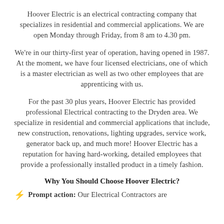Hoover Electric is an electrical contracting company that specializes in residential and commercial applications. We are open Monday through Friday, from 8 am to 4.30 pm.
We're in our thirty-first year of operation, having opened in 1987. At the moment, we have four licensed electricians, one of which is a master electrician as well as two other employees that are apprenticing with us.
For the past 30 plus years, Hoover Electric has provided professional Electrical contracting to the Dryden area. We specialize in residential and commercial applications that include, new construction, renovations, lighting upgrades, service work, generator back up, and much more! Hoover Electric has a reputation for having hard-working, detailed employees that provide a professionally installed product in a timely fashion.
Why You Should Choose Hoover Electric?
Prompt action: Our Electrical Contractors are